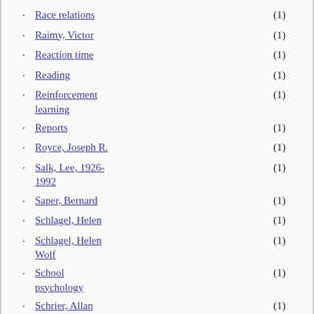Race relations (1)
Raimy, Victor (1)
Reaction time (1)
Reading (1)
Reinforcement learning (1)
Reports (1)
Royce, Joseph R. (1)
Salk, Lee, 1926-1992 (1)
Saper, Bernard (1)
Schlagel, Helen (1)
Schlagel, Helen Wolf (1)
School psychology (1)
Schrier, Allan (1)
Scott, John Paul, 1909-2000 (1)
Segal, Julius, 1924- (1)